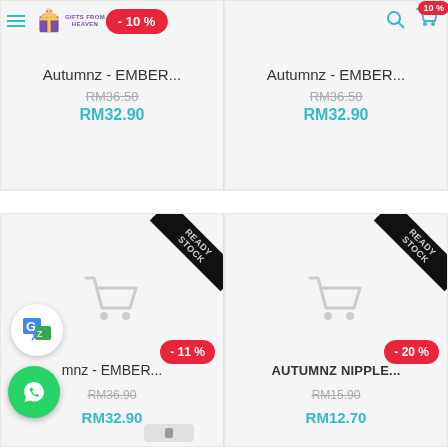[Figure (screenshot): E-commerce mobile app screenshot showing product listings for Autumnz baby products with discount badges, pricing, and ready stock ribbons]
Autumnz - EMBER...
RM36.50
RM32.90
Autumnz - EMBER...
RM36.50
RM32.90
mnz - EMBER...
RM36.90
RM32.90
AUTUMNZ NIPPLE...
RM15.90
RM12.70